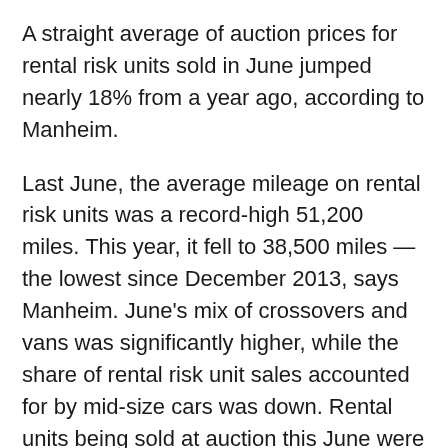A straight average of auction prices for rental risk units sold in June jumped nearly 18% from a year ago, according to Manheim.
Last June, the average mileage on rental risk units was a record-high 51,200 miles. This year, it fell to 38,500 miles — the lowest since December 2013, says Manheim. June's mix of crossovers and vans was significantly higher, while the share of rental risk unit sales accounted for by mid-size cars was down. Rental units being sold at auction this June were also in better condition.
Rental risk auction prices — adjusted for broad changes in mix and mileage (but not condition) — were flat in June relative to a year ago. Prices were up 2.2% from May on significantly lower volume, according to